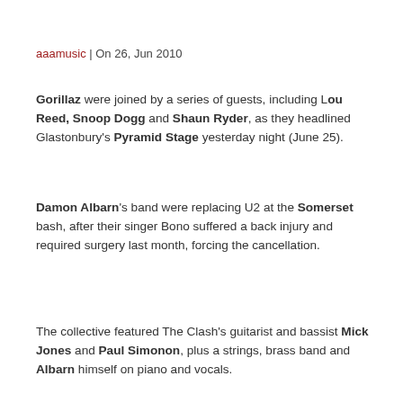aaamusic | On 26, Jun 2010
Gorillaz were joined by a series of guests, including Lou Reed, Snoop Dogg and Shaun Ryder, as they headlined Glastonbury's Pyramid Stage yesterday night (June 25).
Damon Albarn's band were replacing U2 at the Somerset bash, after their singer Bono suffered a back injury and required surgery last month, forcing the cancellation.
The collective featured The Clash's guitarist and bassist Mick Jones and Paul Simonon, plus a strings, brass band and Albarn himself on piano and vocals.
The group then welcomed De La Soul, Bobby Womack, The Fall's Mark E Smith, Bashy and Kano to join them onstage at various points in the show.
Playing 'Welcome To The World Of The Plastic